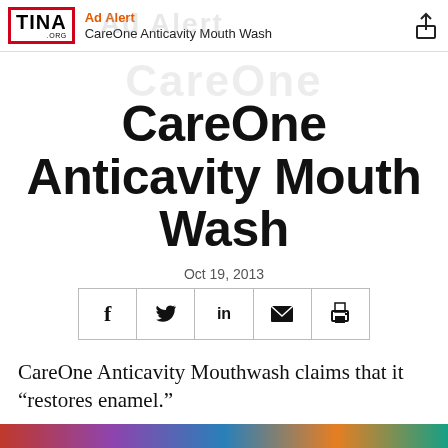Ad Alert — CareOne Anticavity Mouth Wash
CareOne Anticavity Mouth Wash
Oct 19, 2013
[Figure (infographic): Social media share buttons: Facebook (f), Twitter (bird), LinkedIn (in), Email (envelope), Print (printer)]
CareOne Anticavity Mouthwash claims that it “restores enamel.”